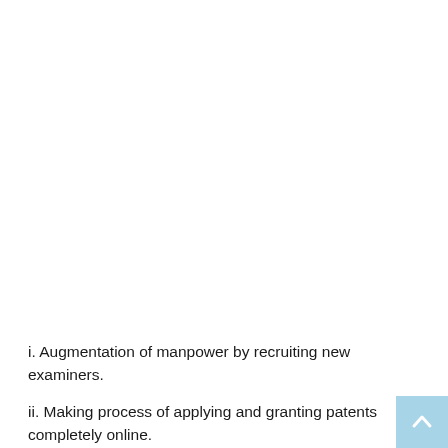i. Augmentation of manpower by recruiting new examiners.
ii. Making process of applying and granting patents completely online.